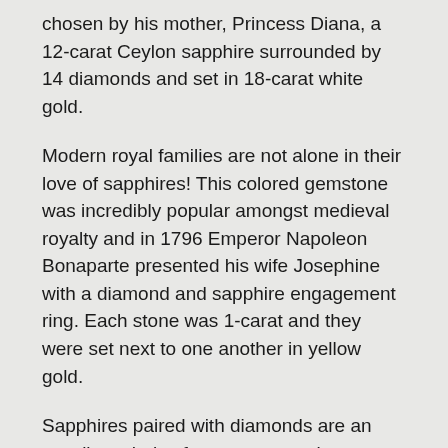chosen by his mother, Princess Diana, a 12-carat Ceylon sapphire surrounded by 14 diamonds and set in 18-carat white gold.
Modern royal families are not alone in their love of sapphires! This colored gemstone was incredibly popular amongst medieval royalty and in 1796 Emperor Napoleon Bonaparte presented his wife Josephine with a diamond and sapphire engagement ring. Each stone was 1-carat and they were set next to one another in yellow gold.
Sapphires paired with diamonds are an excellent choice for engagment rings, as sapphires stand for truth, fidelity and faithfulness, while diamonds symbolize love and beauty. What wonderful feelings to invoke as you take the steps forward into the greatest commitment of your life!